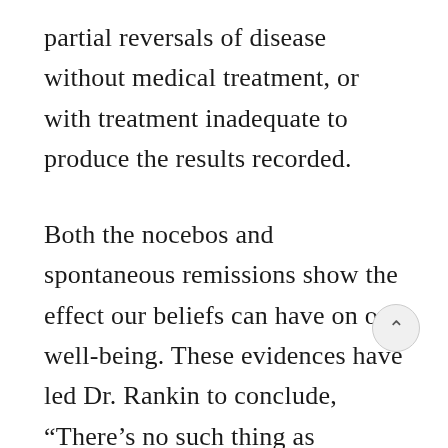partial reversals of disease without medical treatment, or with treatment inadequate to produce the results recorded.
Both the nocebos and spontaneous remissions show the effect our beliefs can have on our well-being. These evidences have led Dr. Rankin to conclude, “There’s no such thing as incurable illness.” Instead we can “optimize” the possibility for